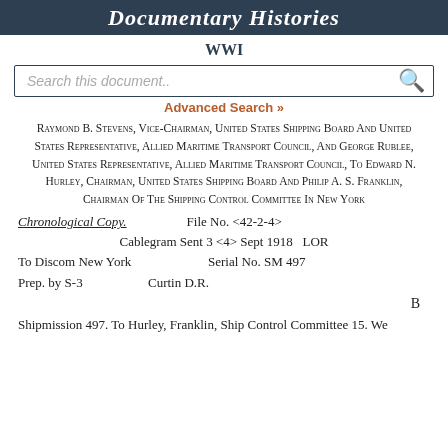Documentary Histories
WWI
Raymond B. Stevens, Vice-Chairman, United States Shipping Board And United States Representative, Allied Maritime Transport Council, And George Rublee, United States Representative, Allied Maritime Transport Council, To Edward N. Hurley, Chairman, United States Shipping Board And Philip A. S. Franklin, Chairman Of The Shipping Control Committee In New York
Chronological Copy.    File No. <42-2-4>
Cablegram Sent 3 <4> Sept 1918   LOR
To Discom New York    Serial No. SM 497
Prep. by S-3    Curtin D.R.
B
Shipmission 497. To Hurley, Franklin, Ship Control Committee 15. We